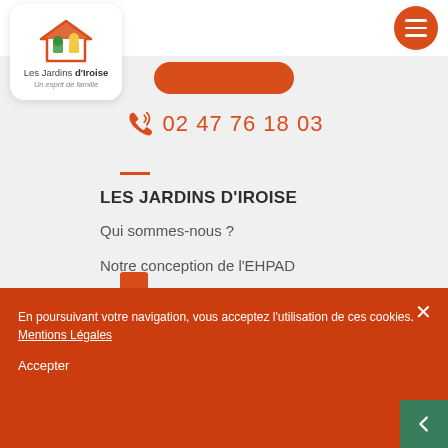[Figure (logo): Les Jardins d'Iroise logo with house icon, text 'Les Jardins d'Iroise' and 'Un esprit de famille']
[Figure (illustration): Orange circular hamburger menu button with three white horizontal lines]
02 47 76 18 03
LES JARDINS D'IROISE
Qui sommes-nous ?
Notre conception de l'EHPAD
Aides et tarifs
[Figure (illustration): White circular floating phone callback button with orange phone icon]
En poursuivant votre navigation, vous acceptez l'utilisation de ces cookies. Mentions Légales
Accepter